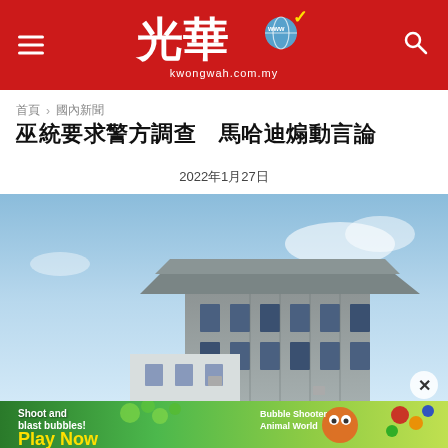光華 kwongwah.com.my
首页 › 国内新闻
巫统要求警方调查 马哈迪煽动言论
2022年1月27日
[Figure (photo): Upward angle photo of a multi-storey government or institutional building against a blue sky with clouds]
[Figure (other): Mobile game advertisement banner - Bubble Shooter Animal World - Play Now]